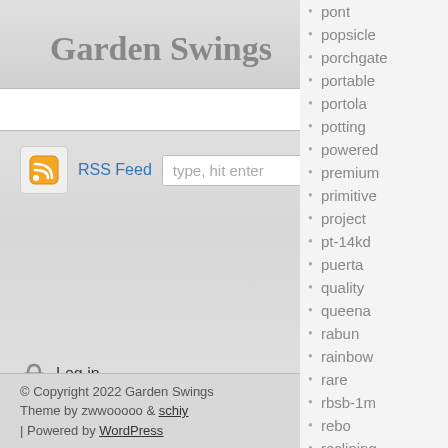Garden Swings
Home
RSS Feed  type, hit enter
Log in
© Copyright 2022 Garden Swings
Theme by zwwooooo & schiy
| Powered by WordPress
pont
popsicle
porchgate
portable
portola
potting
powered
premium
primitive
project
pt-14kd
puerta
quality
queena
rabun
rainbow
rare
rbsb-1m
rebo
reclining